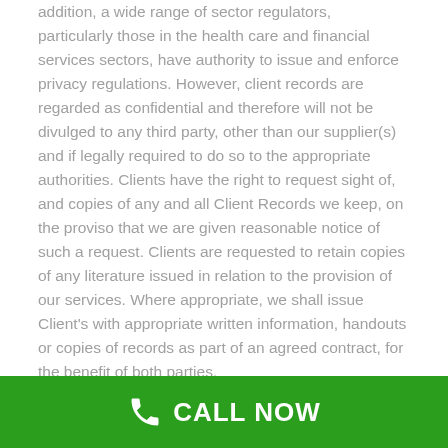addition, a wide range of sector regulators, particularly those in the health care and financial services sectors, have authority to issue and enforce privacy regulations. However, client records are regarded as confidential and therefore will not be divulged to any third party, other than our supplier(s) and if legally required to do so to the appropriate authorities. Clients have the right to request sight of, and copies of any and all Client Records we keep, on the proviso that we are given reasonable notice of such a request. Clients are requested to retain copies of any literature issued in relation to the provision of our services. Where appropriate, we shall issue Client's with appropriate written information, handouts or copies of records as part of an agreed contract, for the benefit of both parties.
[Figure (other): Green call-to-action banner with phone icon and CALL NOW text]